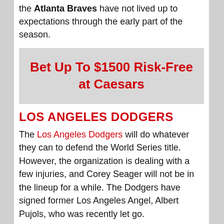the Atlanta Braves have not lived up to expectations through the early part of the season.
[Figure (other): Advertisement box: Bet Up To $1500 Risk-Free at Caesars]
LOS ANGELES DODGERS
The Los Angeles Dodgers will do whatever they can to defend the World Series title. However, the organization is dealing with a few injuries, and Corey Seager will not be in the lineup for a while. The Dodgers have signed former Los Angeles Angel, Albert Pujols, who was recently let go.
The Dodgers could use some firepower off the bench and could play Pujols at first when